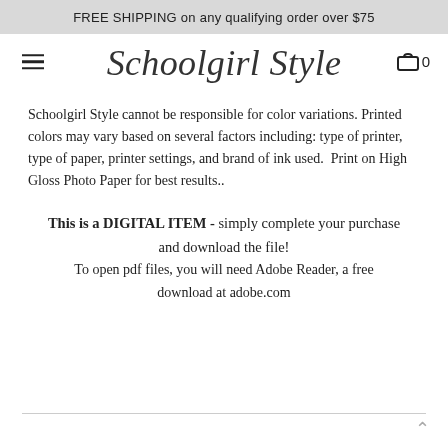FREE SHIPPING on any qualifying order over $75
[Figure (logo): Schoolgirl Style cursive logo with hamburger menu icon on left and shopping cart icon with '0' on right]
Schoolgirl Style cannot be responsible for color variations. Printed colors may vary based on several factors including: type of printer, type of paper, printer settings, and brand of ink used. Print on High Gloss Photo Paper for best results..
This is a DIGITAL ITEM - simply complete your purchase and download the file! To open pdf files, you will need Adobe Reader, a free download at adobe.com